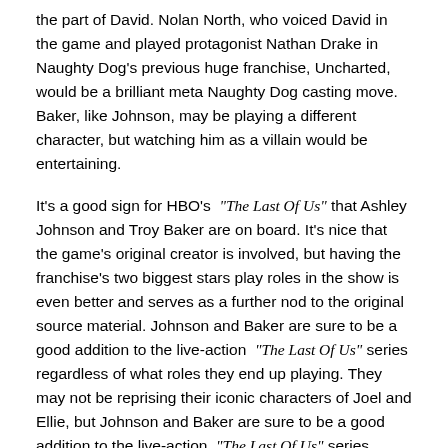the part of David. Nolan North, who voiced David in the game and played protagonist Nathan Drake in Naughty Dog's previous huge franchise, Uncharted, would be a brilliant meta Naughty Dog casting move. Baker, like Johnson, may be playing a different character, but watching him as a villain would be entertaining.
It's a good sign for HBO's "The Last Of Us" that Ashley Johnson and Troy Baker are on board. It's nice that the game's original creator is involved, but having the franchise's two biggest stars play roles in the show is even better and serves as a further nod to the original source material. Johnson and Baker are sure to be a good addition to the live-action "The Last Of Us" series regardless of what roles they end up playing. They may not be reprising their iconic characters of Joel and Ellie, but Johnson and Baker are sure to be a good addition to the live-action "The Last Of Us" series regardless of what roles they end up playing.
Subscribe to our newsletter